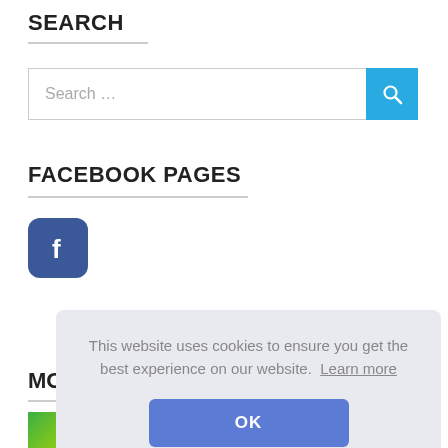SEARCH
[Figure (screenshot): Search input box with placeholder 'Search …' and a blue search button with magnifying glass icon]
FACEBOOK PAGES
[Figure (logo): Facebook logo icon — rounded square with white 'f' on dark blue background]
MO
[Figure (photo): Partially visible thumbnail image with green and blue colors]
This website uses cookies to ensure you get the best experience on our website.  Learn more
OK